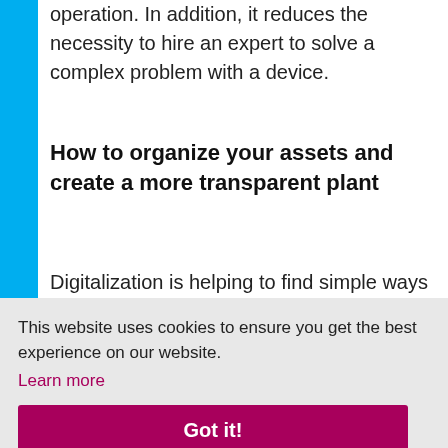operation. In addition, it reduces the necessity to hire an expert to solve a complex problem with a device.
How to organize your assets and create a more transparent plant
Digitalization is helping to find simple ways to integrate all data originating in the field and to view it from wherever you are. For instance, the
This website uses cookies to ensure you get the best experience on our website.
Learn more
Got it!